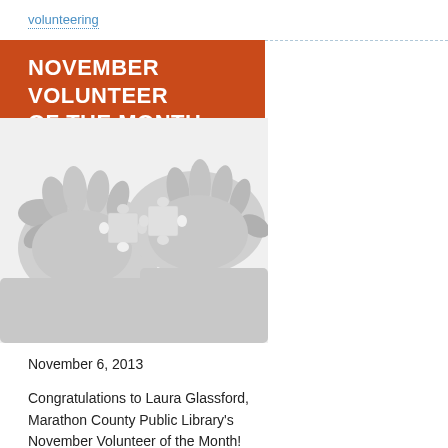volunteering
NOVEMBER VOLUNTEER OF THE MONTH
[Figure (photo): Black and white photo of two hands holding puzzle pieces together]
November 6, 2013
Congratulations to Laura Glassford, Marathon County Public Library's November Volunteer of the Month! Laura volunteers at the Wausau Headquarters and is a great help with the Homebound Program.